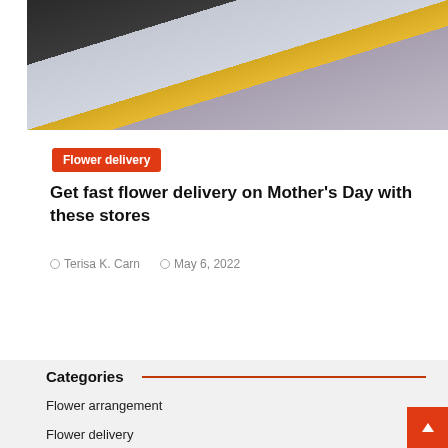[Figure (photo): Photo of a person in a yellow/mustard top receiving or handing flowers at a doorway, with another person in dark clothing visible]
Flower delivery
Get fast flower delivery on Mother's Day with these stores
Terisa K. Carn   May 6, 2022
Categories
Flower arrangement
Flower delivery